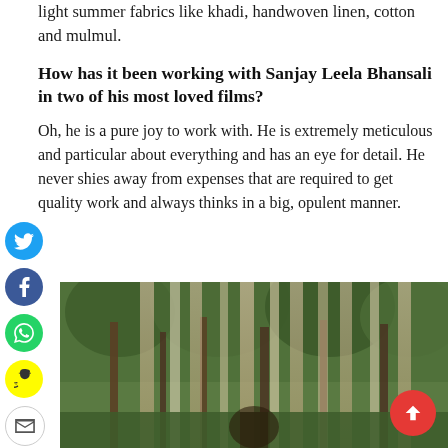light summer fabrics like khadi, handwoven linen, cotton and mulmul.
How has it been working with Sanjay Leela Bhansali in two of his most loved films?
Oh, he is a pure joy to work with. He is extremely meticulous and particular about everything and has an eye for detail. He never shies away from expenses that are required to get quality work and always thinks in a big, opulent manner.
[Figure (photo): Outdoor photo of a woman in traditional attire standing among trees with sheer fabric curtains hanging in the background]